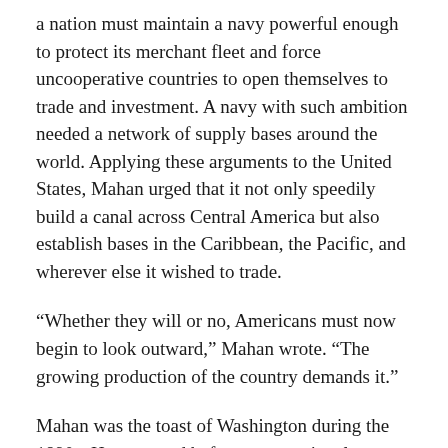a nation must maintain a navy powerful enough to protect its merchant fleet and force uncooperative countries to open themselves to trade and investment. A navy with such ambition needed a network of supply bases around the world. Applying these arguments to the United States, Mahan urged that it not only speedily build a canal across Central America but also establish bases in the Caribbean, the Pacific, and wherever else it wished to trade.
“Whether they will or no, Americans must now begin to look outward,” Mahan wrote. “The growing production of the country demands it.”
Mahan was the toast of Washington during the 1890s. He appeared before congressional committees and developed close friendships with powerful politicians. Senator Henry Cabot Lodge of Massachusetts, a leading